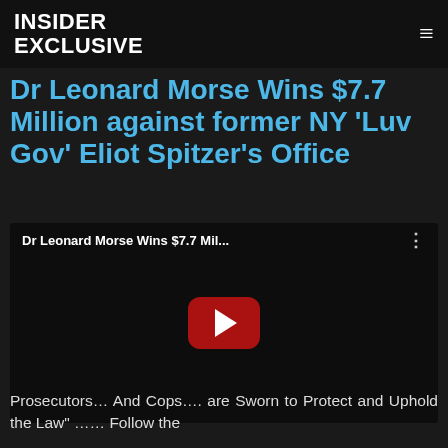INSIDER EXCLUSIVE
Dr Leonard Morse Wins $7.7 Million against former NY 'Luv Gov' Eliot Spitzer's Office
[Figure (screenshot): Embedded YouTube video player showing 'Dr Leonard Morse Wins $7.7 Mil...' with a red play button on a black background]
Prosecutors… And Cops…. are Sworn to Protect and Uphold the Law" …… Follow the